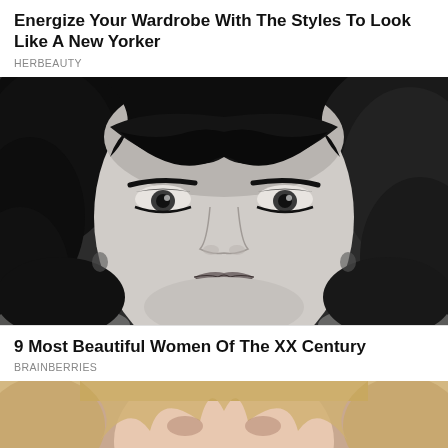Energize Your Wardrobe With The Styles To Look Like A New Yorker
HERBEAUTY
[Figure (photo): Black and white close-up portrait of a woman with dramatic eye makeup, dark curly hair, and strong facial features. Classic glamour photography style.]
9 Most Beautiful Women Of The XX Century
BRAINBERRIES
[Figure (photo): Partial close-up photo of a blonde woman, cropped at the bottom of the page. Color photo showing face and hair.]